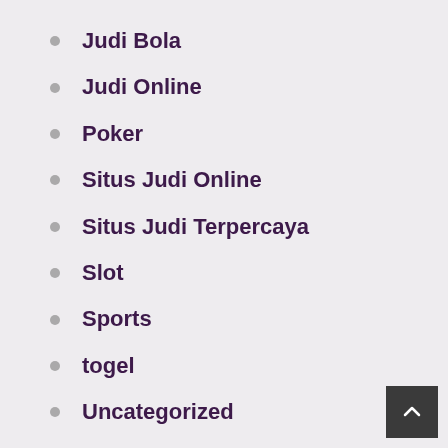Judi Bola
Judi Online
Poker
Situs Judi Online
Situs Judi Terpercaya
Slot
Sports
togel
Uncategorized